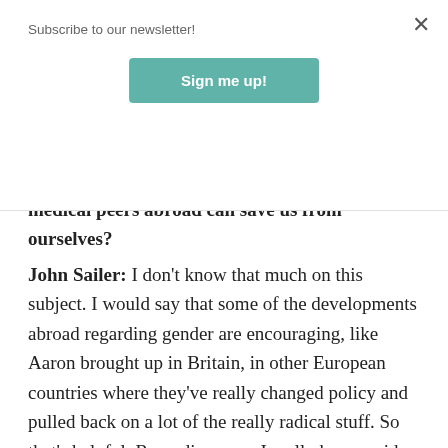Subscribe to our newsletter!
[Figure (other): Sign me up! button — teal/green rounded rectangle button]
medical peers abroad can save us from ourselves?
John Sailer: I don't know that much on this subject. I would say that some of the developments abroad regarding gender are encouraging, like Aaron brought up in Britain, in other European countries where they've really changed policy and pulled back on a lot of the really radical stuff. So that's helpful. Regarding race, I really have no idea what politicians think should happen at the